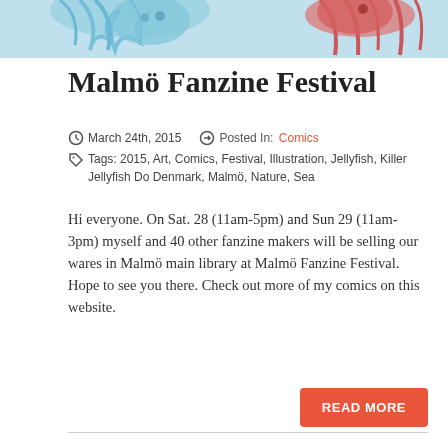[Figure (illustration): Colorful illustration banner featuring jellyfish/octopus artwork with blue/teal watercolor background, tentacles visible at top of page]
Malmö Fanzine Festival
March 24th, 2015   Posted In: Comics
Tags: 2015, Art, Comics, Festival, Illustration, Jellyfish, Killer Jellyfish Do Denmark, Malmö, Nature, Sea
Hi everyone. On Sat. 28 (11am-5pm) and Sun 29 (11am-3pm) myself and 40 other fanzine makers will be selling our wares in Malmö main library at Malmö Fanzine Festival. Hope to see you there. Check out more of my comics on this website.
READ MORE